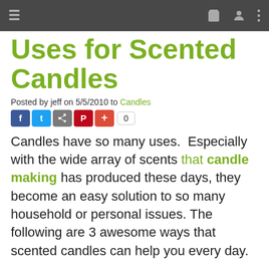Navigation bar with hamburger menu, cart, profile, and more icons
Uses for Scented Candles
Posted by jeff on 5/5/2010 to Candles
[Figure (other): Social sharing buttons: Facebook, Twitter, Share, Pinterest, Plus, and a count box showing 0]
Candles have so many uses.  Especially with the wide array of scents that candle making has produced these days, they become an easy solution to so many household or personal issues. The following are 3 awesome ways that scented candles can help you every day.
First, let’s talk household uses. Scented candles have some great uses at home. The wonderful aroma of a scented candle can improve the atmosphere of any living space